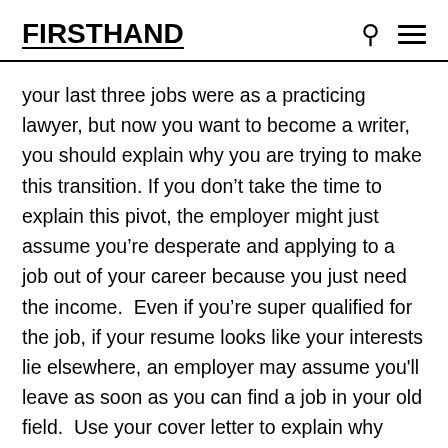FIRSTHAND
your last three jobs were as a practicing lawyer, but now you want to become a writer, you should explain why you are trying to make this transition. If you don't take the time to explain this pivot, the employer might just assume you're desperate and applying to a job out of your career because you just need the income.  Even if you're super qualified for the job, if your resume looks like your interests lie elsewhere, an employer may assume you'll leave as soon as you can find a job in your old field.  Use your cover letter to explain why